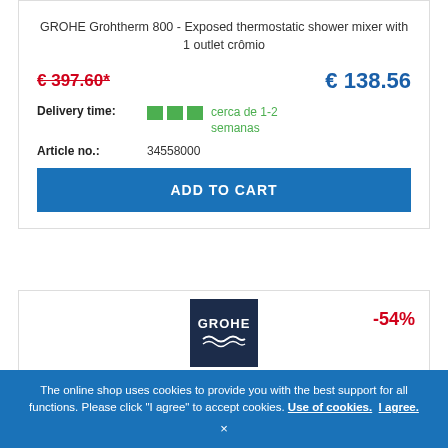GROHE Grohtherm 800 - Exposed thermostatic shower mixer with 1 outlet crômio
€ 397.60* (old price, strikethrough)   € 138.56 (new price)
Delivery time: cerca de 1-2 semanas
Article no.: 34558000
ADD TO CART
[Figure (logo): GROHE brand logo on dark navy blue background with wave symbol]
-54%
The online shop uses cookies to provide you with the best support for all functions. Please click "I agree" to accept cookies. Use of cookies. I agree. ×